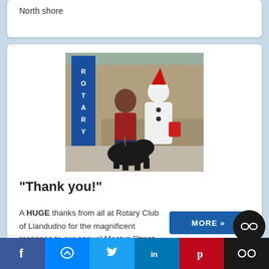North shore
[Figure (photo): Two people and a black dog standing outside near a Rotary Club banner. One person wears a red jacket, the other is dressed as a snowman with a Santa hat, holding a collection bucket.]
“Thank you!”
A HUGE thanks from all at Rotary Club of Llandudno for the magnificent response to our annual Mostyn Street Snowman Charity Collection.
MORE »